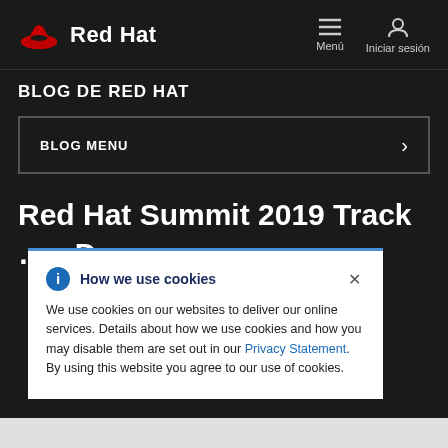[Figure (logo): Red Hat logo with red hat icon and bold white 'Red Hat' text, navigation bar with hamburger menu icon labeled 'Menú' and person icon labeled 'Iniciar sesión']
BLOG DE RED HAT
BLOG MENU
Red Hat Summit 2019 Track … p Dev
How we use cookies
We use cookies on our websites to deliver our online services. Details about how we use cookies and how you may disable them are set out in our Privacy Statement. By using this website you agree to our use of cookies.